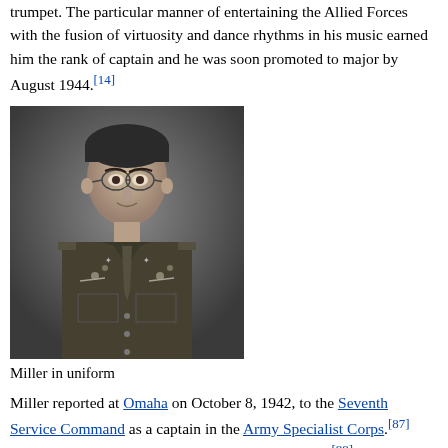trumpet. His particular manner of entertaining the Allied Forces with the fusion of virtuosity and dance rhythms in his music earned him the rank of captain and he was soon promoted to major by August 1944.[14]
[Figure (photo): Black and white photograph of Glenn Miller in military uniform, wearing glasses, looking slightly to the right.]
Miller in uniform
Miller reported at Omaha on October 8, 1942, to the Seventh Service Command as a captain in the Army Specialist Corps.[87] Miller was soon transferred to the Army Air Forces.[88] Captain Glenn Miller served initially as assistant special services officer for the Army Air Forces Southeast Training Center at Maxwell Field...